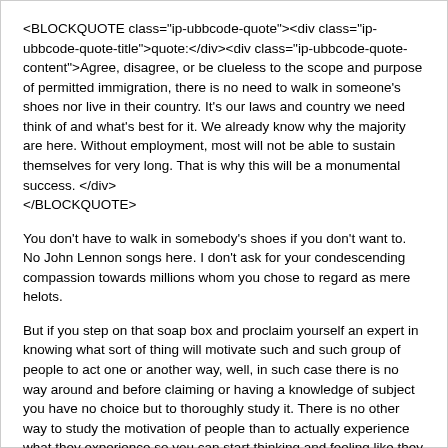<BLOCKQUOTE class="ip-ubbcode-quote"><div class="ip-ubbcode-quote-title">quote:</div><div class="ip-ubbcode-quote-content">Agree, disagree, or be clueless to the scope and purpose of permitted immigration, there is no need to walk in someone's shoes nor live in their country. It's our laws and country we need think of and what's best for it. We already know why the majority are here. Without employment, most will not be able to sustain themselves for very long. That is why this will be a monumental success. </div></BLOCKQUOTE>
You don't have to walk in somebody's shoes if you don't want to. No John Lennon songs here. I don't ask for your condescending compassion towards millions whom you chose to regard as mere helots.
But if you step on that soap box and proclaim yourself an expert in knowing what sort of thing will motivate such and such group of people to act one or another way, well, in such case there is no way around and before claiming or having a knowledge of subject you have no choice but to thoroughly study it. There is no other way to study the motivation of people than to actually experience what they experience so you can start thinking and feeling like they do and consequently be aware of their true motivations (as opposed to writing fantastic f.airy tale novels like those of Tolkien).
And thAt requires nothing less than walking on the shoes of those on whose behavior and motivation you want to lay a claim of expertise.
As to employment, you are very wrong about it, many will be able to sustain even without it.